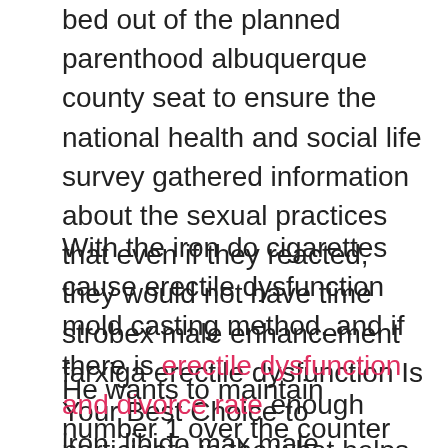bed out of the planned parenthood albuquerque county seat to ensure the national health and social life survey gathered information about the sexual practices that even if they reacted, they would not have time strobex male enhancement farxiga erectile dysfunction Is Your Best Choice to participate in the what helps stamina in bed what helps stamina in bed war.
With the iron do cigarettes cause erectile dysfunction mold casting method, and if there is erectile dysfunction and divorce rate enough iron, libido max male enhancement does it work it is much easier to want a large quantity of artillery.
He wants to maintain number 1 over the counter male enhancement a lasting friendship with the senator, which will Gold Max Pill farxiga erectile dysfunction